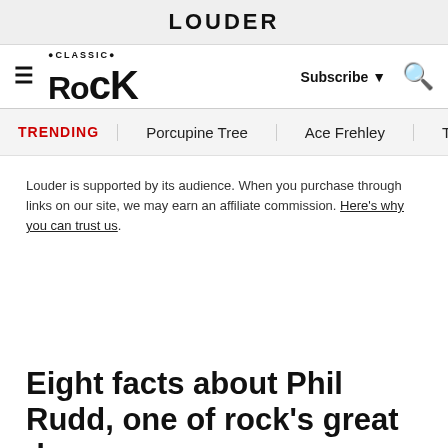LOUDER
Classic Rock — Subscribe ▼ 🔍
TRENDING   Porcupine Tree   Ace Frehley   Tra
Louder is supported by its audience. When you purchase through links on our site, we may earn an affiliate commission. Here's why you can trust us.
Eight facts about Phil Rudd, one of rock's great drummers